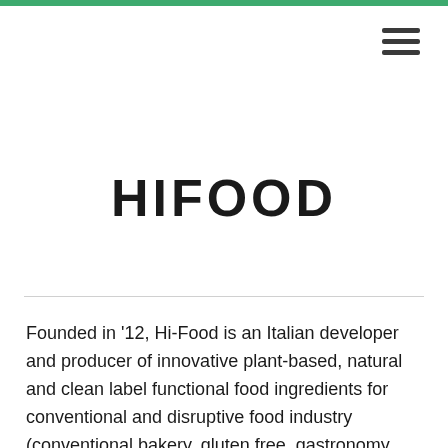[Figure (other): Green top navigation bar strip]
[Figure (other): Hamburger menu icon with three horizontal lines in top-right corner]
HIFOOD
Founded in ‘12, Hi-Food is an Italian developer and producer of innovative plant-based, natural and clean label functional food ingredients for conventional and disruptive food industry (conventional bakery, gluten free, gastronomy, sauces, fillings, dessert, ice cream, beverage, new plant-based foods).